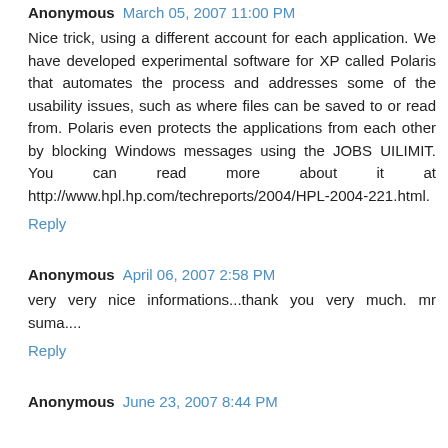Anonymous  March 05, 2007 11:00 PM
Nice trick, using a different account for each application. We have developed experimental software for XP called Polaris that automates the process and addresses some of the usability issues, such as where files can be saved to or read from. Polaris even protects the applications from each other by blocking Windows messages using the JOBS UILIMIT. You can read more about it at http://www.hpl.hp.com/techreports/2004/HPL-2004-221.html.
Reply
Anonymous  April 06, 2007 2:58 PM
very very nice informations...thank you very much. mr suma....
Reply
Anonymous  June 23, 2007 8:44 PM